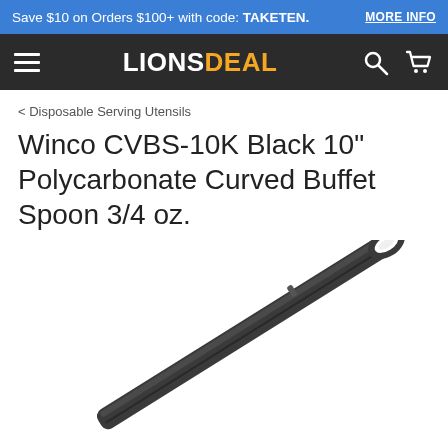Save $10 on Orders $100+ with code: TAKETEN. MORE INFO
LIONSDEAL
< Disposable Serving Utensils
Winco CVBS-10K Black 10" Polycarbonate Curved Buffet Spoon 3/4 oz.
[Figure (photo): Close-up of a black polycarbonate curved buffet spoon showing the handle end with a hook/loop, angled diagonally across a white background.]